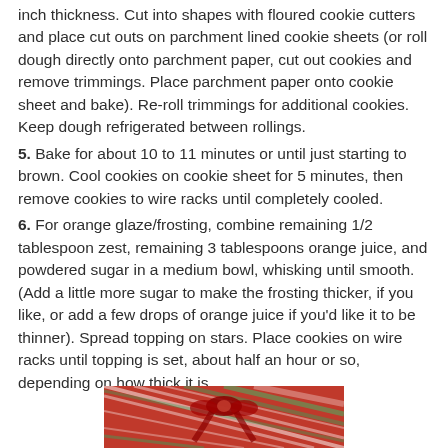inch thickness. Cut into shapes with floured cookie cutters and place cut outs on parchment lined cookie sheets (or roll dough directly onto parchment paper, cut out cookies and remove trimmings. Place parchment paper onto cookie sheet and bake). Re-roll trimmings for additional cookies. Keep dough refrigerated between rollings.
5. Bake for about 10 to 11 minutes or until just starting to brown. Cool cookies on cookie sheet for 5 minutes, then remove cookies to wire racks until completely cooled.
6. For orange glaze/frosting, combine remaining 1/2 tablespoon zest, remaining 3 tablespoons orange juice, and powdered sugar in a medium bowl, whisking until smooth. (Add a little more sugar to make the frosting thicker, if you like, or add a few drops of orange juice if you'd like it to be thinner). Spread topping on stars. Place cookies on wire racks until topping is set, about half an hour or so, depending on how thick it is.
[Figure (photo): Photo of plaid/tartan fabric in red, white, and green with a red ribbon or bow, partially visible at the bottom of the page.]